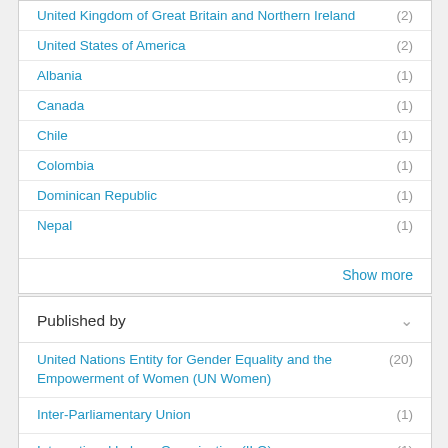United Kingdom of Great Britain and Northern Ireland (2)
United States of America (2)
Albania (1)
Canada (1)
Chile (1)
Colombia (1)
Dominican Republic (1)
Nepal (1)
Show more
Published by
United Nations Entity for Gender Equality and the Empowerment of Women (UN Women) (20)
Inter-Parliamentary Union (1)
International Labour Organization (ILO) (1)
Office of the United Nations High Commissioner for Human Rights (OHCHR) (1)